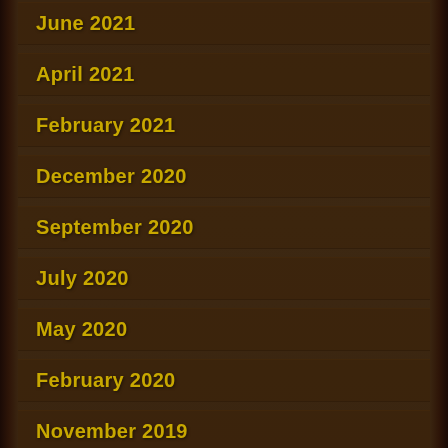June 2021
April 2021
February 2021
December 2020
September 2020
July 2020
May 2020
February 2020
November 2019
April 2019